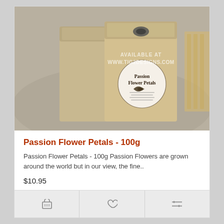[Figure (photo): Brown kraft paper bags of Passion Flower Petals product on a woven mat background, with a watermark reading AVAILABLE AT WWW.TIG2DESIGNS.COM]
Passion Flower Petals - 100g
Passion Flower Petals - 100g Passion Flowers are grown around the world but in our view, the fine..
$10.95